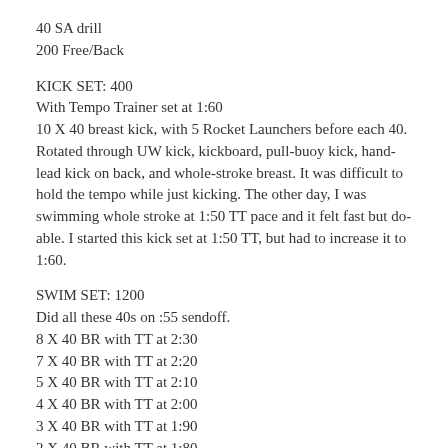40 SA drill
200 Free/Back
KICK SET: 400
With Tempo Trainer set at 1:60
10 X 40 breast kick, with 5 Rocket Launchers before each 40. Rotated through UW kick, kickboard, pull-buoy kick, hand-lead kick on back, and whole-stroke breast. It was difficult to hold the tempo while just kicking. The other day, I was swimming whole stroke at 1:50 TT pace and it felt fast but do-able. I started this kick set at 1:50 TT, but had to increase it to 1:60.
SWIM SET: 1200
Did all these 40s on :55 sendoff.
8 X 40 BR with TT at 2:30
7 X 40 BR with TT at 2:20
5 X 40 BR with TT at 2:10
4 X 40 BR with TT at 2:00
3 X 40 BR with TT at 1:90
2 X 40 BR with TT at 1:80
1 X 40 BR with TT at 1:70